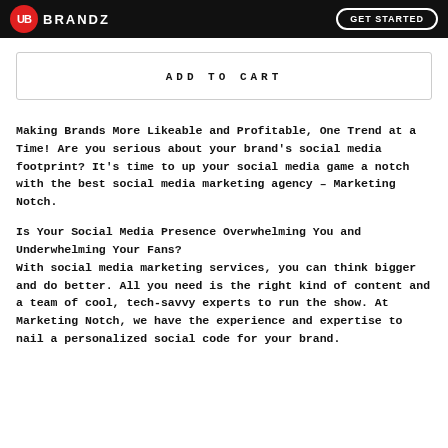UB BRANDZ | GET STARTED
ADD TO CART
Making Brands More Likeable and Profitable, One Trend at a Time! Are you serious about your brand's social media footprint? It's time to up your social media game a notch with the best social media marketing agency – Marketing Notch.
Is Your Social Media Presence Overwhelming You and Underwhelming Your Fans?
With social media marketing services, you can think bigger and do better. All you need is the right kind of content and a team of cool, tech-savvy experts to run the show. At Marketing Notch, we have the experience and expertise to nail a personalized social code for your brand.